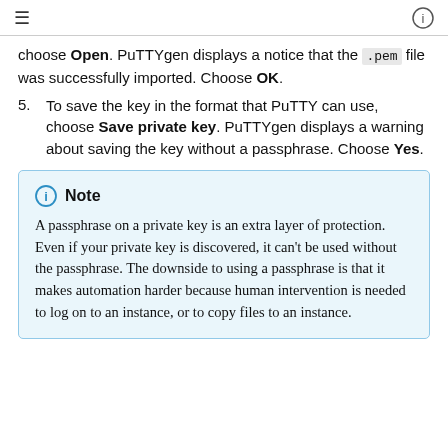≡   ℹ
choose Open. PuTTYgen displays a notice that the .pem file was successfully imported. Choose OK.
5. To save the key in the format that PuTTY can use, choose Save private key. PuTTYgen displays a warning about saving the key without a passphrase. Choose Yes.
Note
A passphrase on a private key is an extra layer of protection. Even if your private key is discovered, it can't be used without the passphrase. The downside to using a passphrase is that it makes automation harder because human intervention is needed to log on to an instance, or to copy files to an instance.